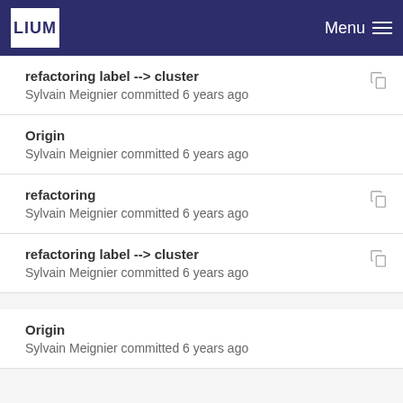LIUM  Menu
refactoring label --> cluster
Sylvain Meignier committed 6 years ago
Origin
Sylvain Meignier committed 6 years ago
refactoring
Sylvain Meignier committed 6 years ago
refactoring label --> cluster
Sylvain Meignier committed 6 years ago
Origin
Sylvain Meignier committed 6 years ago